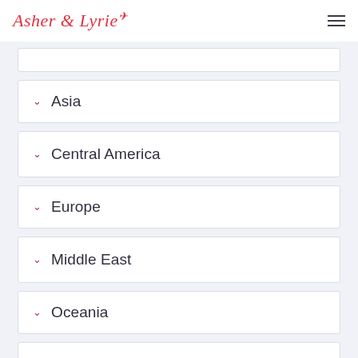Asher & Lyrie
Asia
Central America
Europe
Middle East
Oceania
South America
Where to stay